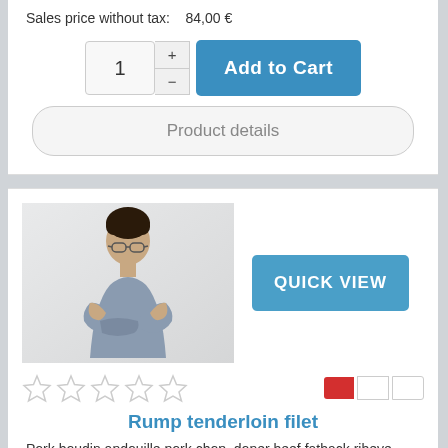Sales price without tax: 84,00 €
[Figure (screenshot): Add to Cart button with quantity selector (1) and plus/minus controls]
[Figure (screenshot): Product details button]
[Figure (photo): Man with glasses and crossed arms on light background]
[Figure (screenshot): Quick View button]
[Figure (screenshot): Five empty star rating icons and red/white toggle switch]
Rump tenderloin filet
Pork boudin andouille pork chop, doner beef fatback ribeye ...
Base price for variant: 115,00 €
Sales price: 115,00 €
Sales price without tax: 115,00 €